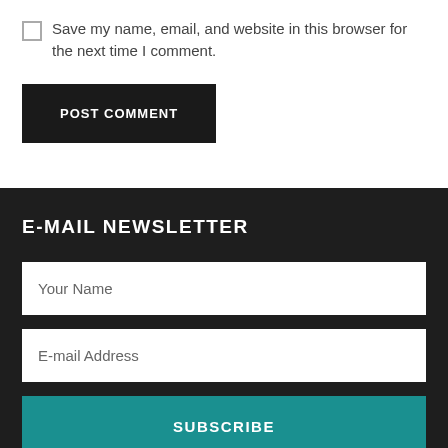Save my name, email, and website in this browser for the next time I comment.
POST COMMENT
E-MAIL NEWSLETTER
Your Name
E-mail Address
SUBSCRIBE